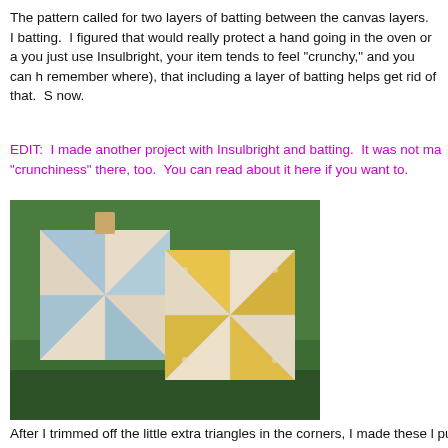The pattern called for two layers of batting between the canvas layers. I batting. I figured that would really protect a hand going in the oven or a you just use Insulbright, your item tends to feel "crunchy," and you can h remember where), that including a layer of batting helps get rid of that. S now.
EDIT: I made another project with Insulbright and batting. It was not ma "crunchiness" there, too. You can read about it here if you want to.
[Figure (photo): Two pinwheel quilt blocks photographed outdoors on grass. One block is made with light blue and cream fabric, the other with yellow floral and cream fabric. Both have leather/tan straps.]
After I trimmed off the little extra triangles in the corners, I made these l put together! I used my new Eleanor Burns Half Square Triangle Ruler to